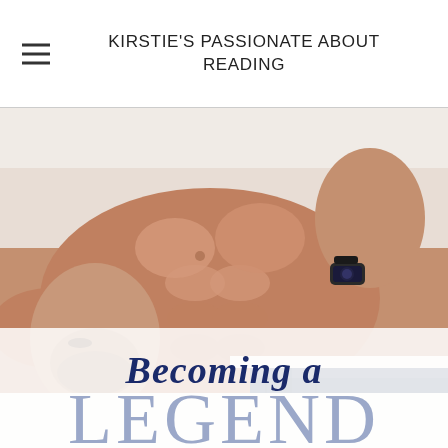KIRSTIE'S PASSIONATE ABOUT READING
[Figure (photo): Book cover for 'Becoming a Legend' showing a shirtless muscular man with beard lying down wearing jeans and a watch, with title text 'Becoming a LEGEND' overlaid at the bottom]